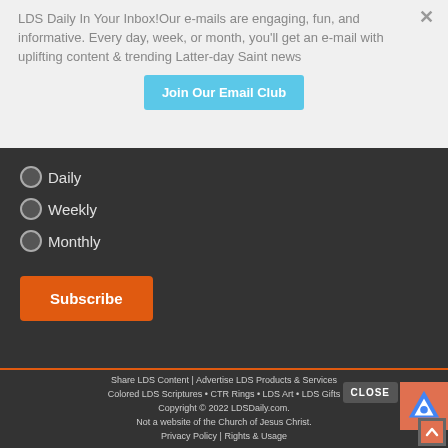LDS Daily In Your Inbox!Our e-mails are engaging, fun, and informative. Every day, week, or month, you'll get an e-mail with uplifting content & trending Latter-day Saint news
Join Our Email Club
Daily
Weekly
Monthly
Subscribe
Share LDS Content | Advertise LDS Products & Services
Colored LDS Scriptures • CTR Rings • LDS Art • LDS Gifts
Copyright © 2022 LDSDaily.com.
Not a website of the Church of Jesus Christ.
Privacy Policy | Rights & Usage